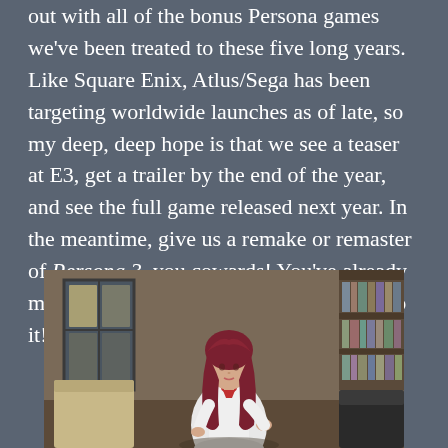out with all of the bonus Persona games we've been treated to these five long years. Like Square Enix, Atlus/Sega has been targeting worldwide launches as of late, so my deep, deep hope is that we see a teaser at E3, get a trailer by the end of the year, and see the full game released next year. In the meantime, give us a remake or remaster of Persona 3, you cowards! You've already made new assets for the dancing game! Do it! Please!
[Figure (illustration): Screenshot from a Persona video game showing a female character with long dark red hair wearing a white uniform with a red bow/scarf, standing in a room that appears to be a library or study with bookshelves, a window with light coming through, and vintage furniture.]